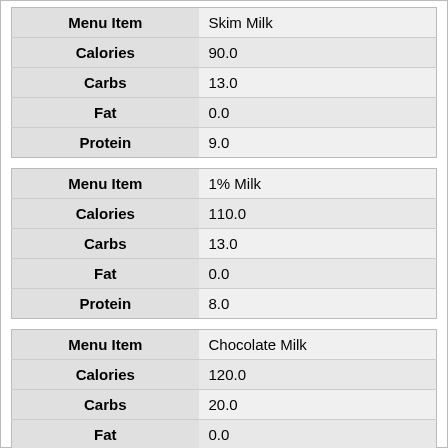| Menu Item | Skim Milk |
| --- | --- |
| Calories | 90.0 |
| Carbs | 13.0 |
| Fat | 0.0 |
| Protein | 9.0 |
| Menu Item | 1% Milk |
| --- | --- |
| Calories | 110.0 |
| Carbs | 13.0 |
| Fat | 0.0 |
| Protein | 8.0 |
| Menu Item | Chocolate Milk |
| --- | --- |
| Calories | 120.0 |
| Carbs | 20.0 |
| Fat | 0.0 |
| Protein | 8.0 |